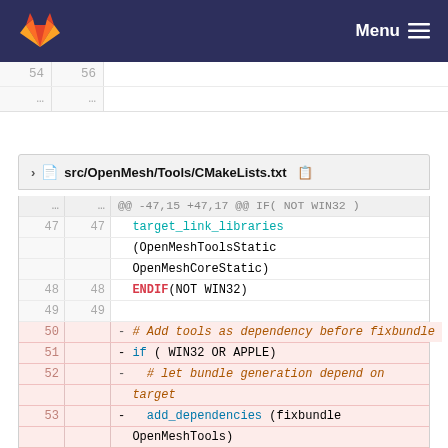GitLab — Menu
54 ... 56 ...
src/OpenMesh/Tools/CMakeLists.txt
@@ -47,15 +47,17 @@ IF( NOT WIN32 )
47 47   target_link_libraries(OpenMeshToolsStatic OpenMeshCoreStatic)
48 48   ENDIF(NOT WIN32)
49 49
50 - # Add tools as dependency before fixbundle
51 - if ( WIN32 OR APPLE)
52 -   # let bundle generation depend on target
53 - add_dependencies (fixbundle OpenMeshTools)
54 - endif()
55 -